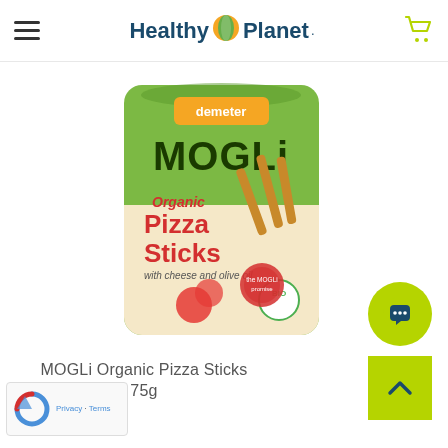Healthy Planet
[Figure (photo): MOGLi Organic Pizza Sticks 75g product package — green bag with red text showing 'Organic Pizza Sticks with cheese and olive oil', Demeter logo, BIO label, and pizza/ingredient imagery]
MOGLi Organic Pizza Sticks 75g
$3.49